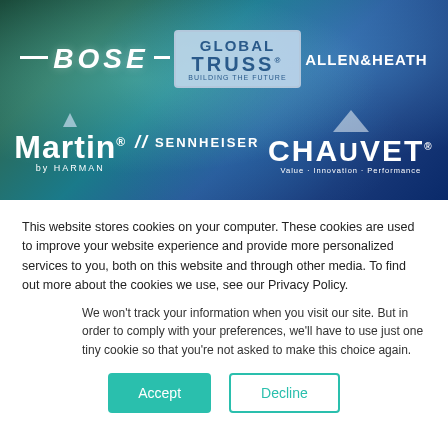[Figure (logo): Banner with colorful blue-green gradient background displaying six brand logos: BOSE, GLOBAL TRUSS (Building the Future), ALLEN & HEATH, Martin by HARMAN, SENNHEISER, and CHAUVET (Value · Innovation · Performance)]
This website stores cookies on your computer. These cookies are used to improve your website experience and provide more personalized services to you, both on this website and through other media. To find out more about the cookies we use, see our Privacy Policy.
We won't track your information when you visit our site. But in order to comply with your preferences, we'll have to use just one tiny cookie so that you're not asked to make this choice again.